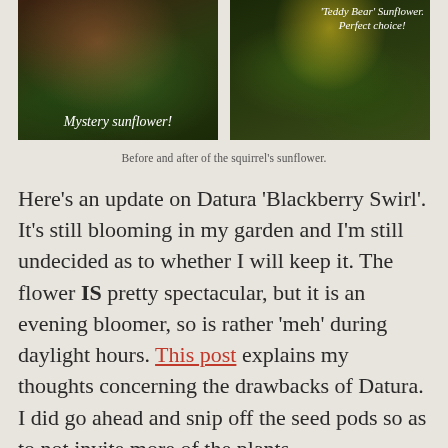[Figure (photo): Two side-by-side garden photos. Left: 'Mystery sunflower!' with pink flowers and greenery. Right: 'Teddy Bear' Sunflower labeled 'Perfect choice!' showing a yellow sunflower.]
Before and after of the squirrel's sunflower.
Here's an update on Datura 'Blackberry Swirl'. It's still blooming in my garden and I'm still undecided as to whether I will keep it. The flower IS pretty spectacular, but it is an evening bloomer, so is rather 'meh' during daylight hours. This post explains my thoughts concerning the drawbacks of Datura. I did go ahead and snip off the seed pods so as to not invite more of the plants.